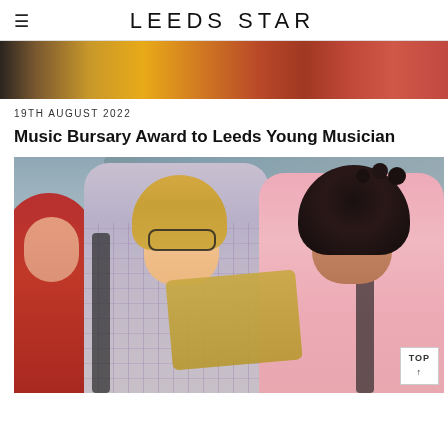LEEDS STAR
[Figure (photo): Partial top banner image showing colourful fabrics or decorations in warm orange and red tones]
19TH AUGUST 2022
Music Bursary Award to Leeds Young Musician
[Figure (photo): Two young women looking at papers or folders outdoors, one with straight blonde hair and glasses wearing a plaid shirt, the other with curly dark hair wearing a pink top, both smiling]